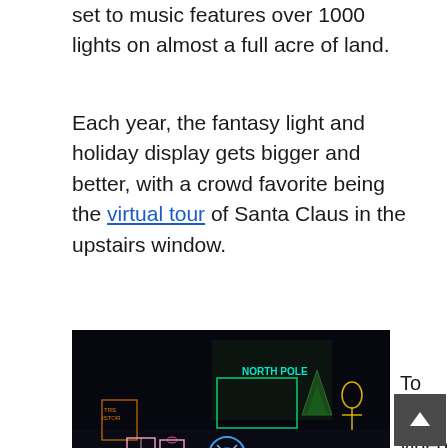set to music features over 1000 lights on almost a full acre of land.
Each year, the fantasy light and holiday display gets bigger and better, with a crowd favorite being the virtual tour of Santa Claus in the upstairs window.
[Figure (photo): Night-time photo of a house with elaborate Christmas light displays including outline figures, presents, North Pole sign, and colorful lights along a white picket fence]
To see videos of the home or to find out